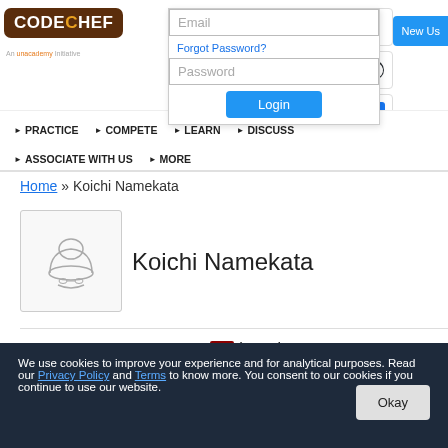[Figure (screenshot): CodeChef website header with login form overlay, social login icons (Google, GitHub, Facebook), navigation bar with PRACTICE, COMPETE, LEARN, DISCUSS, ASSOCIATE WITH US, MORE links]
Home » Koichi Namekata
[Figure (illustration): CodeChef default user avatar - chef hat icon outline]
Koichi Namekata
Username: 7★ kmcode
Country: Japan
We use cookies to improve your experience and for analytical purposes. Read our Privacy Policy and Terms to know more. You consent to our cookies if you continue to use our website.